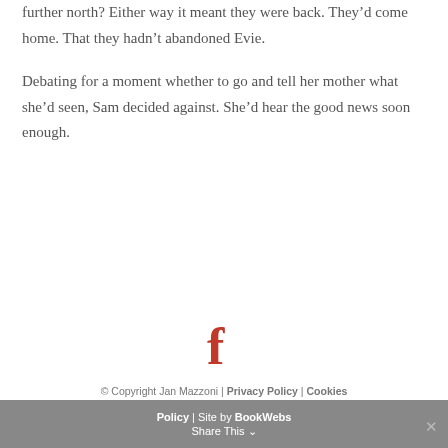further north? Either way it meant they were back. They'd come home. That they hadn't abandoned Evie.
Debating for a moment whether to go and tell her mother what she'd seen, Sam decided against. She'd hear the good news soon enough.
[Figure (other): Facebook icon - letter f in red/orange color]
© Copyright Jan Mazzoni | Privacy Policy | Cookies Policy | Site by BookWebs
Share This ∨  ✕